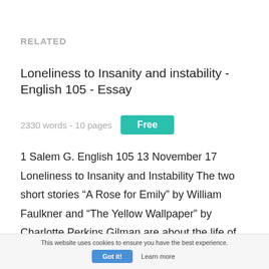RELATED
Loneliness to Insanity and instability - English 105 - Essay
2330 words - 10 pages   Free
1 Salem G. English 105 13 November 17 Loneliness to Insanity and Instability The two short stories “A Rose for Emily” by William Faulkner and “The Yellow Wallpaper” by Charlotte Perkins Gilman are about the life of abused women in a male-dominated culture
This website uses cookies to ensure you have the best experience.  Got it!  Learn more